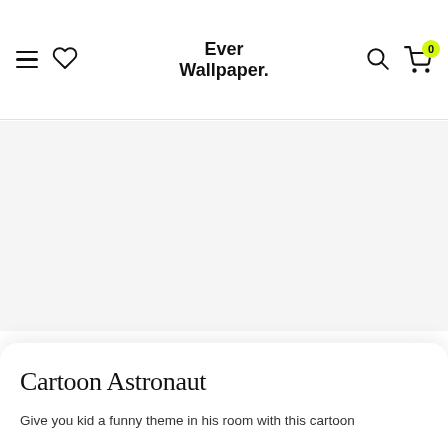Ever Wallpaper.
[Figure (photo): Product image area showing a cartoon astronaut wallpaper (image not loaded, white/light grey area)]
Cartoon Astronaut
Give you kid a funny theme in his room with this cartoon